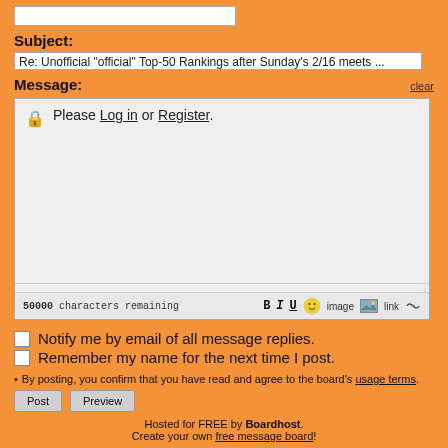[input field - name/username box]
Subject:
Re: Unofficial "official" Top-50 Rankings after Sunday's 2/16 meets ...
Message:
clear
🔒 Please Log in or Register.
50000 characters remaining  B I U 😊 image link
Notify me by email of all message replies.
Remember my name for the next time I post.
By posting, you confirm that you have read and agree to the board's usage terms.
Post  Preview
Hosted for FREE by Boardhost. Create your own free message board!